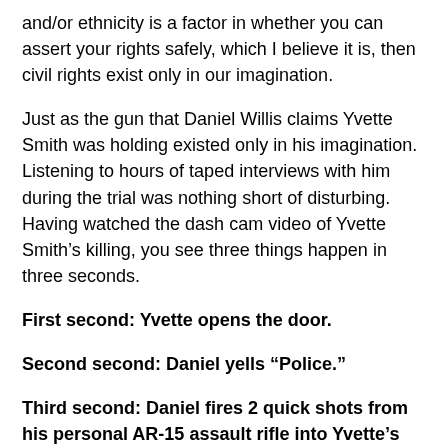and/or ethnicity is a factor in whether you can assert your rights safely, which I believe it is, then civil rights exist only in our imagination.
Just as the gun that Daniel Willis claims Yvette Smith was holding existed only in his imagination. Listening to hours of taped interviews with him during the trial was nothing short of disturbing. Having watched the dash cam video of Yvette Smith’s killing, you see three things happen in three seconds.
First second: Yvette opens the door.
Second second: Daniel yells “Police.”
Third second: Daniel fires 2 quick shots from his personal AR-15 assault rifle into Yvette’s body with no warning, no commands, and no evaluation.
In lengthy explanations, he talks in the interviews shown at